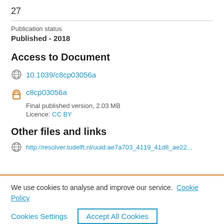27
Publication status
Published - 2018
Access to Document
10.1039/c8cp03056a
c8cp03056a
Final published version, 2.03 MB
Licence: CC BY
Other files and links
http://resolver.tudelft.nl/uuid:ae7a703_4119_41d8_ae22...
We use cookies to analyse and improve our service. Cookie Policy
Cookies Settings
Accept All Cookies